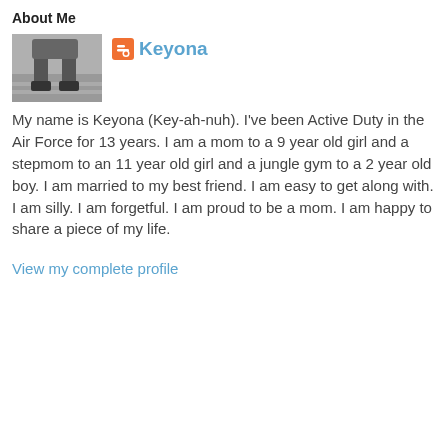About Me
[Figure (photo): Black and white photo of a person's legs and feet, appearing to be sitting or standing on steps outdoors.]
Keyona
My name is Keyona (Key-ah-nuh). I've been Active Duty in the Air Force for 13 years. I am a mom to a 9 year old girl and a stepmom to an 11 year old girl and a jungle gym to a 2 year old boy. I am married to my best friend. I am easy to get along with. I am silly. I am forgetful. I am proud to be a mom. I am happy to share a piece of my life.
View my complete profile